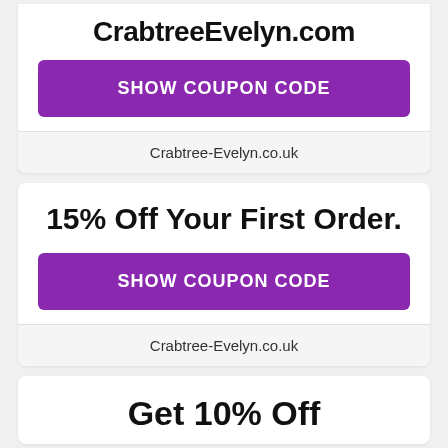CrabtreeEvelyn.com
[Figure (other): Purple SHOW COUPON CODE button]
Crabtree-Evelyn.co.uk
15% Off Your First Order.
[Figure (other): Purple SHOW COUPON CODE button]
Crabtree-Evelyn.co.uk
Get 10% Off